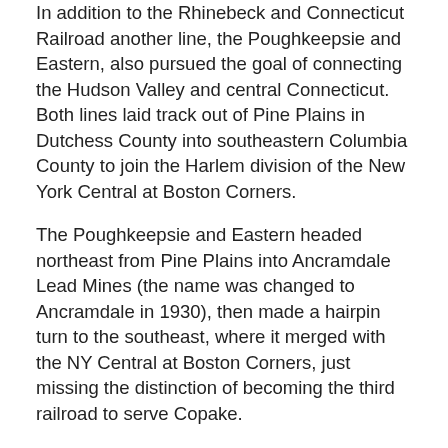In addition to the Rhinebeck and Connecticut Railroad another line, the Poughkeepsie and Eastern, also pursued the goal of connecting the Hudson Valley and central Connecticut. Both lines laid track out of Pine Plains in Dutchess County into southeastern Columbia County to join the Harlem division of the New York Central at Boston Corners.
The Poughkeepsie and Eastern headed northeast from Pine Plains into Ancramdale Lead Mines (the name was changed to Ancramdale in 1930), then made a hairpin turn to the southeast, where it merged with the NY Central at Boston Corners, just missing the distinction of becoming the third railroad to serve Copake.
The CNE, meanwhile, built its tracks north from Pine Plains to a large farm and depot called Silvernails, then northeast to Gallatinville, Ancram and finally Copake before making its own hairpin turn to Boston Corners. The two small railroads were essentially parallel at this point.
The Rhinebeck and Connecticut owners lasted 10 years until the railroad was bought by the Hartford and Connecticut Western in 1882. Later owners were the Central New England and Western Railway in 1880, the